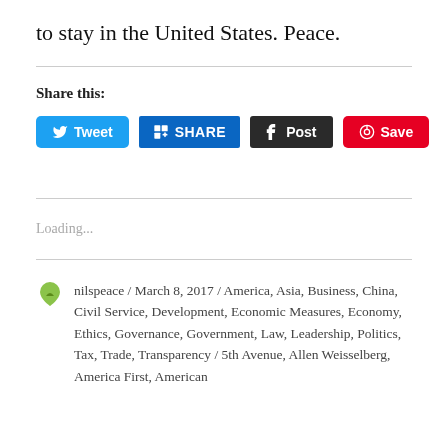to stay in the United States. Peace.
Share this:
[Figure (other): Social share buttons: Tweet (Twitter/blue), SHARE (LinkedIn/dark blue), Post (Tumblr/dark), Save (Pinterest/red)]
Loading...
nilspeace / March 8, 2017 / America, Asia, Business, China, Civil Service, Development, Economic Measures, Economy, Ethics, Governance, Government, Law, Leadership, Politics, Tax, Trade, Transparency / 5th Avenue, Allen Weisselberg, America First, American